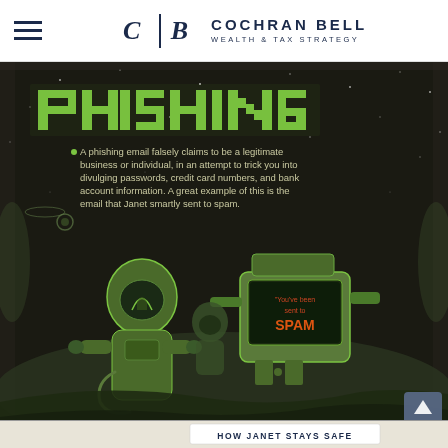C|B COCHRAN BELL WEALTH & TAX STRATEGY
[Figure (infographic): Retro sci-fi style infographic with dark background showing astronauts/robots in green tones. Large pixel-font title 'PHISHING' at top. Text block explains phishing. Scene shows a robot-like computer displaying 'You've been sent to SPAM' message, with astronaut figure beside it. Bottom strip reads 'HOW JANET STAYS SAFE'.]